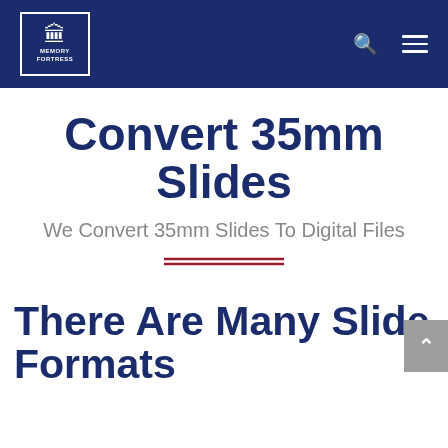MEMORY FORTRESS
Convert 35mm Slides
We Convert 35mm Slides To Digital Files
There Are Many Slide Formats